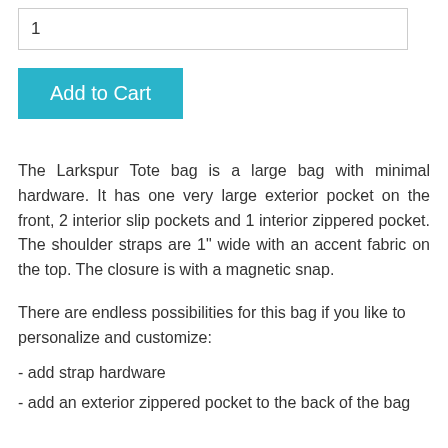1
Add to Cart
The Larkspur Tote bag is a large bag with minimal hardware. It has one very large exterior pocket on the front, 2 interior slip pockets and 1 interior zippered pocket. The shoulder straps are 1" wide with an accent fabric on the top. The closure is with a magnetic snap.
There are endless possibilities for this bag if you like to personalize and customize:
- add strap hardware
- add an exterior zippered pocket to the back of the bag